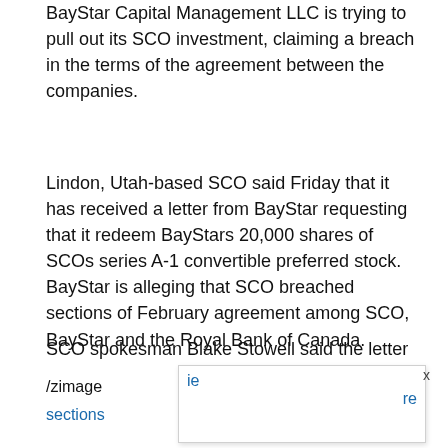BayStar Capital Management LLC is trying to pull out its SCO investment, claiming a breach in the terms of the agreement between the companies.
Lindon, Utah-based SCO said Friday that it has received a letter from BayStar requesting that it redeem BayStars 20,000 shares of SCOs series A-1 convertible preferred stock. BayStar is alleging that SCO breached sections of February agreement among SCO, BayStar and the Royal Bank of Canada.
SCO spokesman Blake Stowell said the letter points to four different sections of the agreement that were violated and that deal mainly deal with misrepresentations of SCOs past and present business finances and its future plans.
/zimage
sections